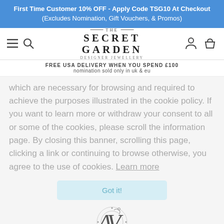First Time Customer 10% OFF - Apply Code TSG10 At Checkout (Excludes Nomination, Gift Vouchers, & Promos)
[Figure (logo): The Secret Garden Designer Jewellery logo with decorative lines]
FREE USA DELIVERY WHEN YOU SPEND £100
nomination sold only in uk & eu
which are necessary for browsing and required to achieve the purposes illustrated in the cookie policy. If you want to learn more or withdraw your consent to all or some of the cookies, please scroll the information page. By closing this banner, scrolling this page, clicking a link or continuing to browse otherwise, you agree to the use of cookies. Learn more
[Figure (other): Got it button (light blue/teal)]
[Figure (logo): Antonio Vaccari SRL Venice Since 1965 logo with decorative monogram]